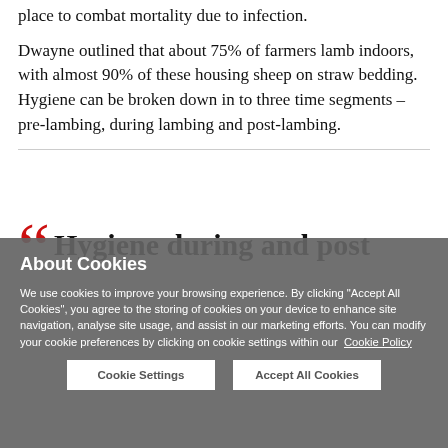place to combat mortality due to infection. Dwayne outlined that about 75% of farmers lamb indoors, with almost 90% of these housing sheep on straw bedding. Hygiene can be broken down in to three time segments – pre-lambing, during lambing and post-lambing.
Hygiene during and post
[Figure (other): Cookie consent overlay dialog with title 'About Cookies', descriptive text about cookie usage, a link to Cookie Policy, and two buttons: 'Cookie Settings' and 'Accept All Cookies']